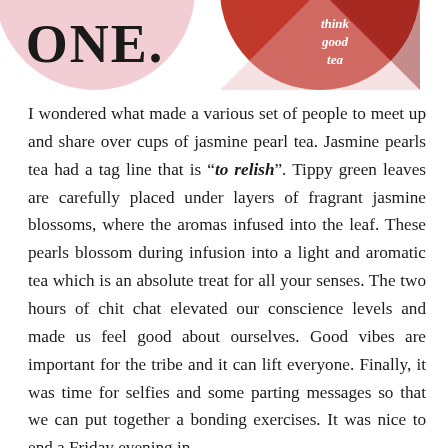[Figure (illustration): Partial view of two circular images at the top of the page. Left circle shows pink background with text 'ONE.' in large dark letters. Right circle shows a red/pink design with text 'think good tea' in script lettering.]
I wondered what made a various set of people to meet up and share over cups of jasmine pearl tea. Jasmine pearls tea had a tag line that is "to relish". Tippy green leaves are carefully placed under layers of fragrant jasmine blossoms, where the aromas infused into the leaf. These pearls blossom during infusion into a light and aromatic tea which is an absolute treat for all your senses. The two hours of chit chat elevated our conscience levels and made us feel good about ourselves. Good vibes are important for the tribe and it can lift everyone. Finally, it was time for selfies and some parting messages so that we can put together a bonding exercises. It was nice to end a Friday evening in